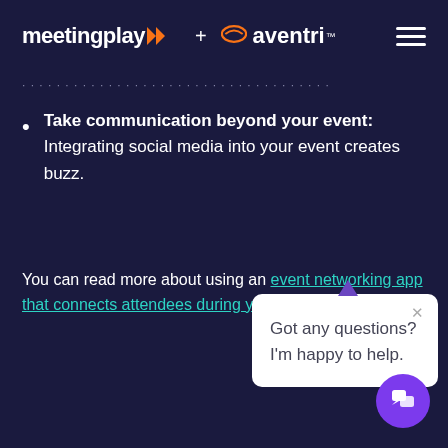meetingplay + aventri [navigation header with hamburger menu]
· · · · · · · · · · · · · · · · · · · · · · · · · · · · · · · · · ·
Take communication beyond your event: Integrating social media into your event creates buzz.
You can read more about using an event networking app that connects attendees during your event here.
[Figure (screenshot): Chat popup widget with text 'Got any questions? I'm happy to help.' and a purple chat button in corner]